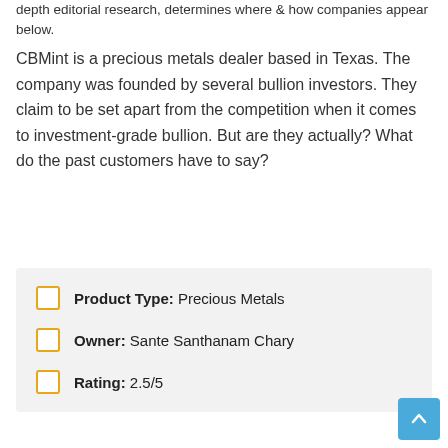depth editorial research, determines where & how companies appear below.
CBMint is a precious metals dealer based in Texas. The company was founded by several bullion investors. They claim to be set apart from the competition when it comes to investment-grade bullion. But are they actually? What do the past customers have to say?
Product Type: Precious Metals
Owner: Sante Santhanam Chary
Rating: 2.5/5